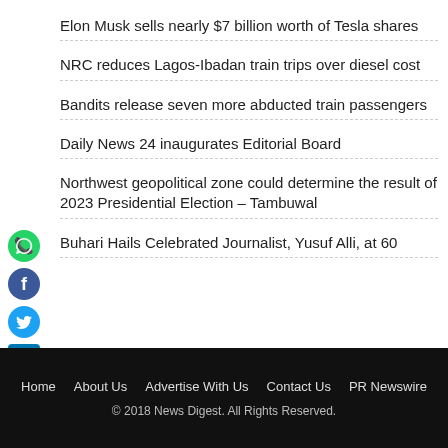Elon Musk sells nearly $7 billion worth of Tesla shares
NRC reduces Lagos-Ibadan train trips over diesel cost
Bandits release seven more abducted train passengers
Daily News 24 inaugurates Editorial Board
Northwest geopolitical zone could determine the result of 2023 Presidential Election – Tambuwal
Buhari Hails Celebrated Journalist, Yusuf Alli, at 60
Home   About Us   Advertise With Us   Contact Us   PR Newswire
© 2018 News Digest. All Rights Reserved.